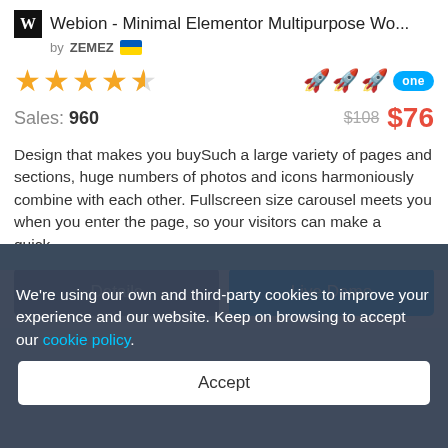Webion - Minimal Elementor Multipurpose Wo...
by ZEMEZ 🇺🇦
[Figure (other): 4.5 star rating with rocket icons and 'one' badge]
Sales: 960   $108  $76
Design that makes you buySuch a large variety of pages and sections, huge numbers of photos and icons harmoniously combine with each other. Fullscreen size carousel meets you when you enter the page, so your visitors can make a quick...
Details
Live Demo
We're using our own and third-party cookies to improve your experience and our website. Keep on browsing to accept our cookie policy.
Accept